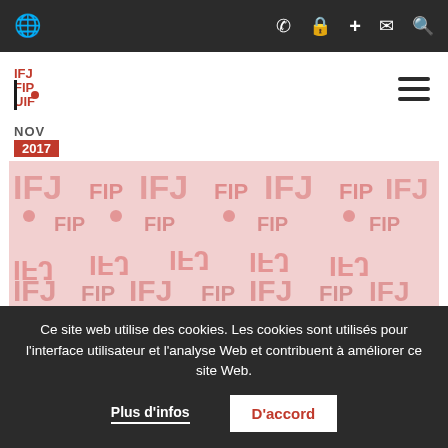Navigation bar with globe icon and icons: phone, lock, plus, mail, search
[Figure (logo): IFJ FIP UIF logo in red and black]
NOV
2017
[Figure (illustration): IFJ logo pattern repeated in pinkish-red on light background]
25 novembre: Un appel à l'action, une opportunité à saisir et le moment de
Ce site web utilise des cookies. Les cookies sont utilisés pour l'interface utilisateur et l'analyse Web et contribuent à améliorer ce site Web.
Plus d'infos   D'accord